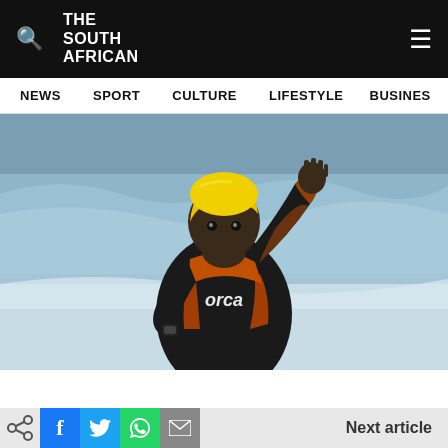THE SOUTH AFRICAN
[Figure (photo): A man in a black and orange Orca wetsuit and yellow swim cap running out of the ocean water, waving with one hand raised]
Next article